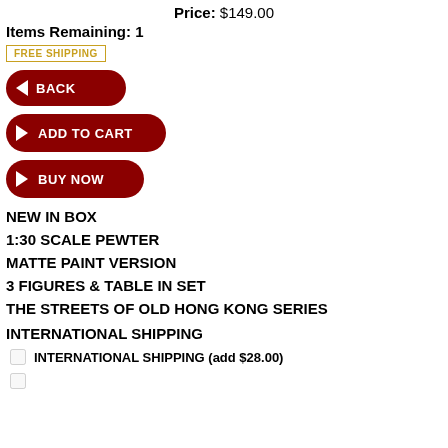Price: $149.00
Items Remaining: 1
FREE SHIPPING
◄ BACK
► ADD TO CART
► BUY NOW
NEW IN BOX
1:30 SCALE PEWTER
MATTE PAINT VERSION
3 FIGURES & TABLE IN SET
THE STREETS OF OLD HONG KONG SERIES
INTERNATIONAL SHIPPING
INTERNATIONAL SHIPPING (add $28.00)